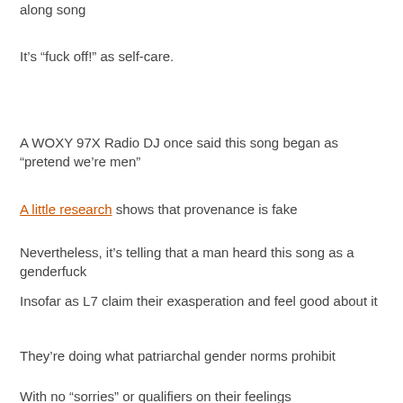along song
It's “fuck off!” as self-care.
A WOXY 97X Radio DJ once said this song began as “pretend we’re men”
A little research shows that provenance is fake
Nevertheless, it’s telling that a man heard this song as a genderfuck
Insofar as L7 claim their exasperation and feel good about it
They’re doing what patriarchal gender norms prohibit
With no “sorries” or qualifiers on their feelings